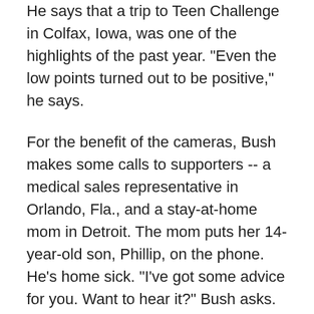He says that a trip to Teen Challenge in Colfax, Iowa, was one of the highlights of the past year. "Even the low points turned out to be positive," he says.
For the benefit of the cameras, Bush makes some calls to supporters -- a medical sales representative in Orlando, Fla., and a stay-at-home mom in Detroit. The mom puts her 14-year-old son, Phillip, on the phone. He's home sick. "I've got some advice for you. Want to hear it?" Bush asks. "Always listen to your mother ... I'm able to give you that advice to listen to your mother because I'm still listening to mine."
At 10:30 a.m., George and Laura Bush hop into their sport utility vehicle to go to the Travis County Courthouse to vote.